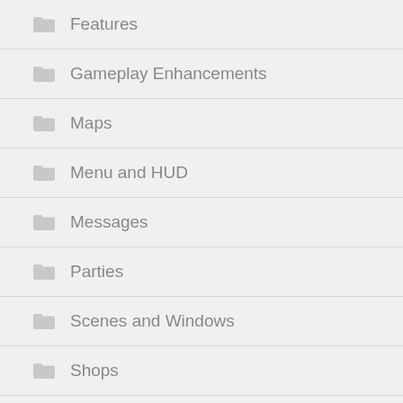Features
Gameplay Enhancements
Maps
Menu and HUD
Messages
Parties
Scenes and Windows
Shops
Skills and Items
Sprites